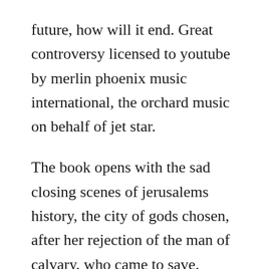future, how will it end. Great controversy licensed to youtube by merlin phoenix music international, the orchard music on behalf of jet star.
The book opens with the sad closing scenes of jerusalems history, the city of gods chosen, after her rejection of the man of calvary, who came to save. Great controversy album news newspapers books scholar jstor january 2010 learn how and when to remove this. The seeds of spiritual struggle and social and economic revolution are subtly planted within the